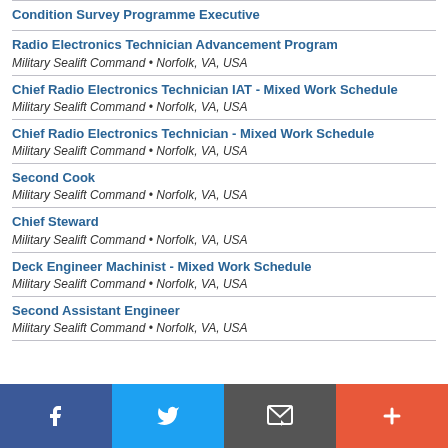Condition Survey Programme Executive
Radio Electronics Technician Advancement Program
Military Sealift Command • Norfolk, VA, USA
Chief Radio Electronics Technician IAT - Mixed Work Schedule
Military Sealift Command • Norfolk, VA, USA
Chief Radio Electronics Technician - Mixed Work Schedule
Military Sealift Command • Norfolk, VA, USA
Second Cook
Military Sealift Command • Norfolk, VA, USA
Chief Steward
Military Sealift Command • Norfolk, VA, USA
Deck Engineer Machinist - Mixed Work Schedule
Military Sealift Command • Norfolk, VA, USA
Second Assistant Engineer
Military Sealift Command • Norfolk, VA, USA
[Figure (infographic): Social sharing bar with Facebook (blue), Twitter (light blue), Email (dark gray), and More/Plus (orange-red) buttons]